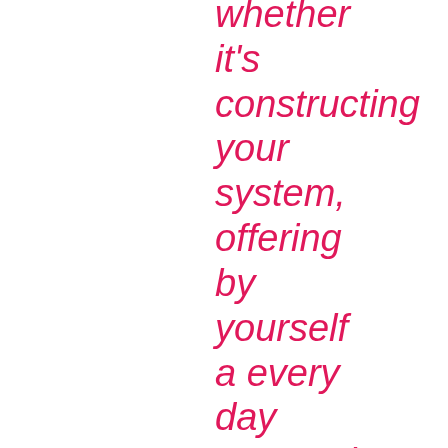whether it's constructing your system, offering by yourself a every day composing apply or just for the enjoyment of possessing last but not least published something